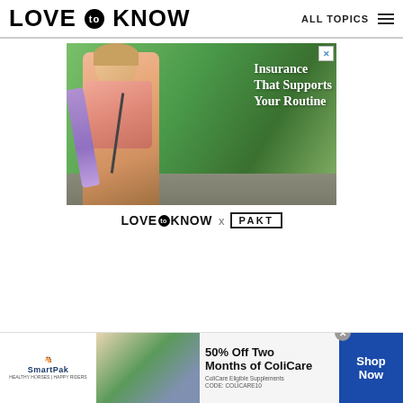LOVE to KNOW | ALL TOPICS
[Figure (photo): Insurance ad showing a woman carrying a yoga mat and gym bag with text 'Insurance That Supports Your Routine']
[Figure (logo): LoveToKnow x PAKT collaboration logo]
[Figure (photo): SmartPak bottom banner ad with horse supplement imagery, '50% Off Two Months of ColiCare', 'CODE: COLICARE10', 'Shop Now' button]